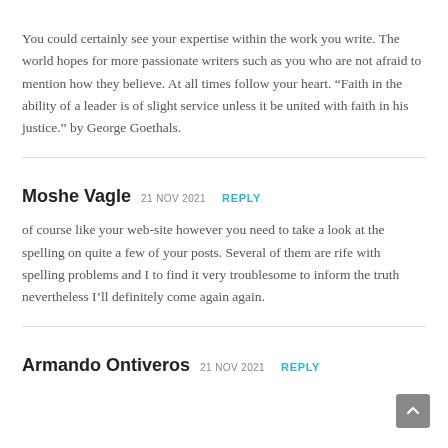You could certainly see your expertise within the work you write. The world hopes for more passionate writers such as you who are not afraid to mention how they believe. At all times follow your heart. “Faith in the ability of a leader is of slight service unless it be united with faith in his justice.” by George Goethals.
Moshe Vagle  21 NOV 2021   REPLY
of course like your web-site however you need to take a look at the spelling on quite a few of your posts. Several of them are rife with spelling problems and I to find it very troublesome to inform the truth nevertheless I’ll definitely come again again.
Armando Ontiveros  21 NOV 2021   REPLY